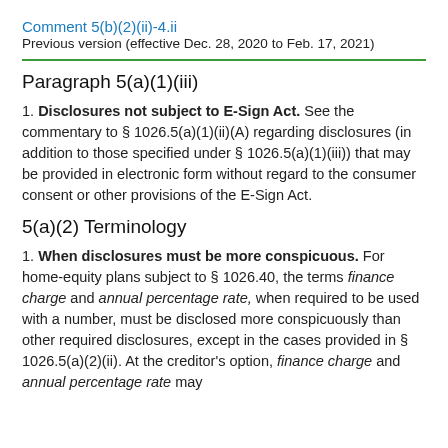Comment 5(b)(2)(ii)-4.ii
Previous version (effective Dec. 28, 2020 to Feb. 17, 2021)
Paragraph 5(a)(1)(iii)
1. Disclosures not subject to E-Sign Act. See the commentary to § 1026.5(a)(1)(ii)(A) regarding disclosures (in addition to those specified under § 1026.5(a)(1)(iii)) that may be provided in electronic form without regard to the consumer consent or other provisions of the E-Sign Act.
5(a)(2) Terminology
1. When disclosures must be more conspicuous. For home-equity plans subject to § 1026.40, the terms finance charge and annual percentage rate, when required to be used with a number, must be disclosed more conspicuously than other required disclosures, except in the cases provided in § 1026.5(a)(2)(ii). At the creditor's option, finance charge and annual percentage rate may